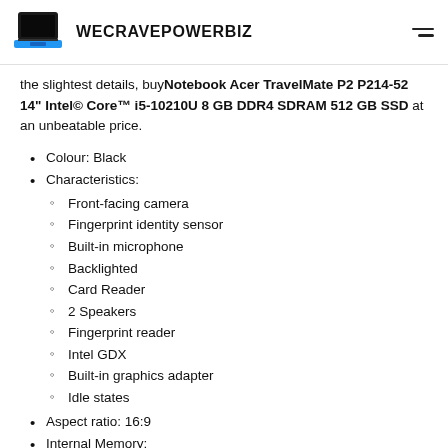WECRAVEPOWERBIZ
the slightest details, buy Notebook Acer TravelMate P2 P214-52 14" Intel© Core™ i5-10210U 8 GB DDR4 SDRAM 512 GB SSD at an unbeatable price.
Colour: Black
Characteristics:
Front-facing camera
Fingerprint identity sensor
Built-in microphone
Backlighted
Card Reader
2 Speakers
Fingerprint reader
Intel GDX
Built-in graphics adapter
Idle states
Aspect ratio: 16:9
Internal Memory:
8 GB